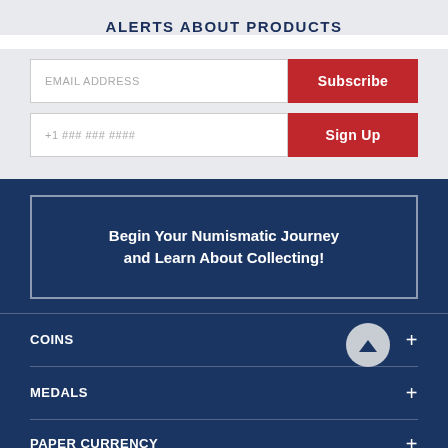ALERTS ABOUT PRODUCTS
[Figure (screenshot): Email address input field with red Subscribe button]
[Figure (screenshot): Phone number input field (+1 ### ### ####) with red Sign Up button]
Begin Your Numismatic Journey and Learn About Collecting!
COINS
MEDALS
PAPER CURRENCY